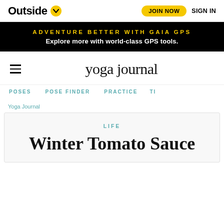Outside | JOIN NOW | SIGN IN
[Figure (screenshot): Outside magazine logo with yellow chevron badge, JOIN NOW yellow button, and SIGN IN text in top navigation bar]
ADVENTURE BETTER WITH GAIA GPS — Explore more with world-class GPS tools.
yoga journal
POSES   POSE FINDER   PRACTICE   TI
Yoga Journal
LIFE
Winter Tomato Sauce